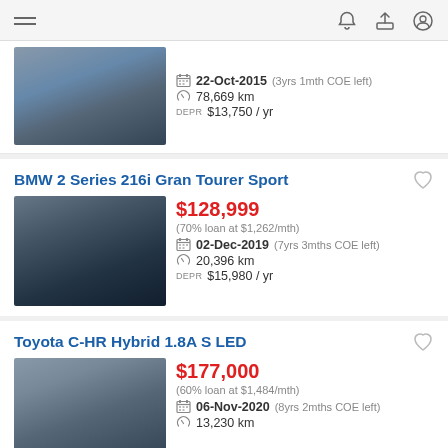Navigation header with hamburger menu and icons
22-Oct-2015 (3yrs 1mth COE left) | 78,669 km | $13,750 / yr
BMW 2 Series 216i Gran Tourer Sport
$128,999 (70% loan at $1,262/mth) | 02-Dec-2019 (7yrs 3mths COE left) | 20,396 km | $15,980 / yr
Toyota C-HR Hybrid 1.8A S LED
$177,000 (60% loan at $1,484/mth) | 06-Nov-2020 (8yrs 2mths COE left) | 13,230 km